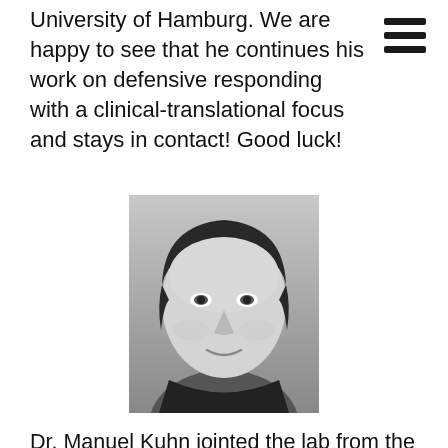hamburger menu icon
University of Hamburg. We are happy to see that he continues his work on defensive responding with a clinical-translational focus and stays in contact! Good luck!
[Figure (photo): Black and white headshot photo of a young man (Dr. Manuel Kuhn), smiling slightly, with dark hair, wearing a dark collar.]
Dr. Manuel Kuhn jointed the lab from the University of Vienna (Aus) as a PhD student (2013-2017) and we were lucky that he stayed in the laba as a post-doc (2017-2019) before he moved to work as a post-doc with Alex Shackman at the University of Maryland in July 2019. Manuel is now a post-